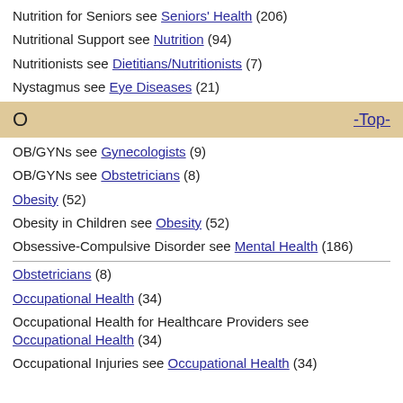Nutrition for Seniors see Seniors' Health (206)
Nutritional Support see Nutrition (94)
Nutritionists see Dietitians/Nutritionists (7)
Nystagmus see Eye Diseases (21)
O  -Top-
OB/GYNs see Gynecologists (9)
OB/GYNs see Obstetricians (8)
Obesity (52)
Obesity in Children see Obesity (52)
Obsessive-Compulsive Disorder see Mental Health (186)
Obstetricians (8)
Occupational Health (34)
Occupational Health for Healthcare Providers see Occupational Health (34)
Occupational Injuries see Occupational Health (34)